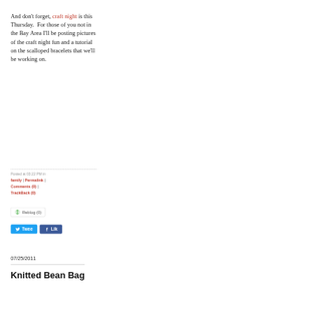And don't forget, craft night is this Thursday.  For those of you not in the Bay Area I'll be posting pictures of the craft night fun and a tutorial on the scalloped bracelets that we'll be working on.
Posted at 03:22 PM in family | Permalink | Comments (0) | TrackBack (0)
Reblog (0)
Tweet
Like
07/25/2011
Knitted Bean Bag